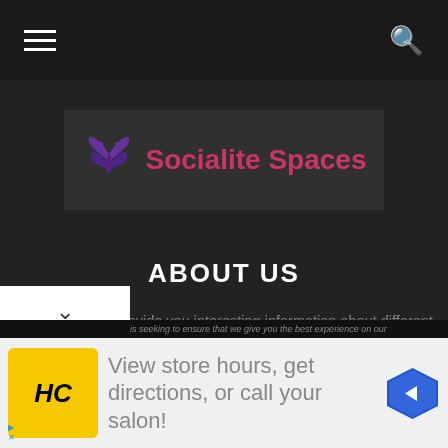Navigation bar with hamburger menu and search icon
[Figure (logo): Socialite Spaces logo with purple butterfly wings icon and pink brand name text on dark background]
ABOUT US
We are here to provide you interesting information about different topics of daily life. Our mission is to provide you all the information about constant change in the world. As the information on the internet affects what you learn, so we believe
is seeking to ensure that we give you the best experience on our
[Figure (infographic): Advertisement banner: HC logo in yellow circle, text 'View store hours, get directions, or call your salon!' with blue diamond navigation icon]